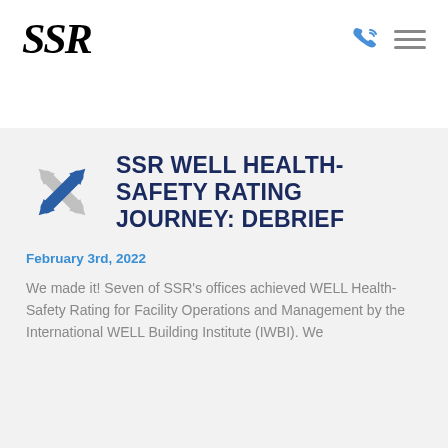SSR
SSR WELL HEALTH-SAFETY RATING JOURNEY: DEBRIEF
February 3rd, 2022
We made it! Seven of SSR's offices achieved WELL Health-Safety Rating for Facility Operations and Management by the International WELL Building Institute (IWBI). We